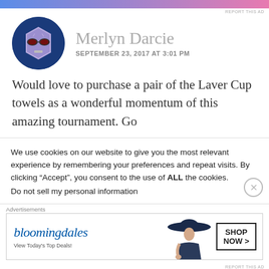[Figure (illustration): Top gradient bar blue to pink]
REPORT THIS AD
[Figure (illustration): Circular avatar with dark blue background showing a purple hexagon face character with sunglasses]
Merlyn Darcie
SEPTEMBER 23, 2017 AT 3:01 PM
Would love to purchase a pair of the Laver Cup towels as a wonderful momentum of this amazing tournament. Go
We use cookies on our website to give you the most relevant experience by remembering your preferences and repeat visits. By clicking “Accept”, you consent to the use of ALL the cookies.
Do not sell my personal information
Advertisements
[Figure (illustration): Bloomingdale's advertisement banner: logo, View Today's Top Deals!, woman with wide-brim hat, SHOP NOW button]